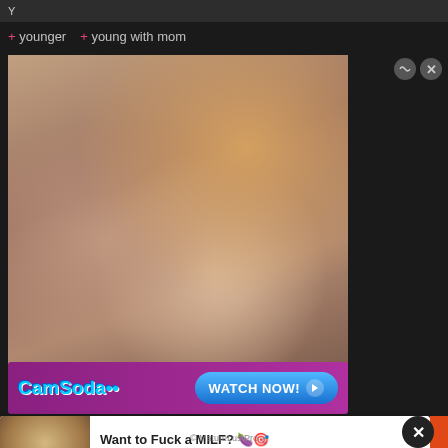Y
+ younger  + young with mom
[Figure (photo): Adult content thumbnail image showing woman in black lingerie]
[Figure (infographic): CamSoda banner advertisement with WATCH NOW button]
[Figure (photo): Advertisement popup: Want to Fuck a MILF? Horny MILFs in Ashburn with thumbnail of blonde woman]
© MatureLustPro